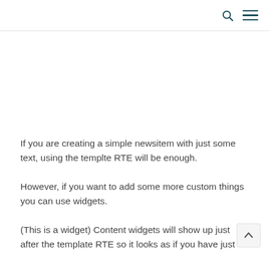[search icon] [menu icon]
If you are creating a simple newsitem with just some text, using the templte RTE will be enough.
However, if you want to add some more custom things you can use widgets.
(This is a widget) Content widgets will show up just after the template RTE so it looks as if you have just